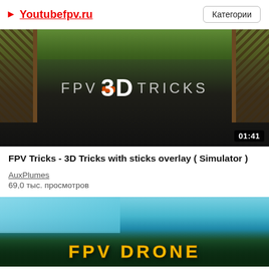▶ Youtubefpv.ru  Категории
[Figure (screenshot): Video thumbnail showing FPV drone simulator scene with fence gates and dark ground, text reads 'FPV 3D TRICKS', duration badge '01:41']
FPV Tricks - 3D Tricks with sticks overlay ( Simulator )
AuxPlumes
69,0 тыс. просмотров
[Figure (screenshot): Video thumbnail showing aerial FPV drone view of beach and palm trees, text reads 'FPV DRONE' in yellow bold letters]